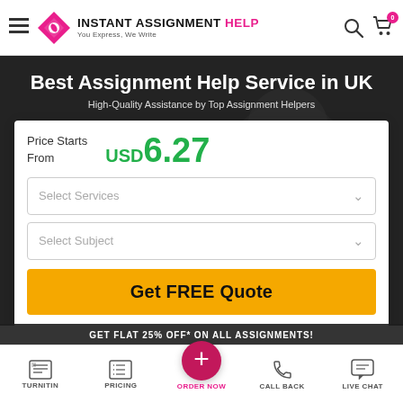INSTANT ASSIGNMENT HELP — You Express, We Write
Best Assignment Help Service in UK
High-Quality Assistance by Top Assignment Helpers
Price Starts From USD6.27
Select Services
Select Subject
Get FREE Quote
GET FLAT 25% OFF* ON ALL ASSIGNMENTS!
TURNITIN | PRICING | ORDER NOW | CALL BACK | LIVE CHAT